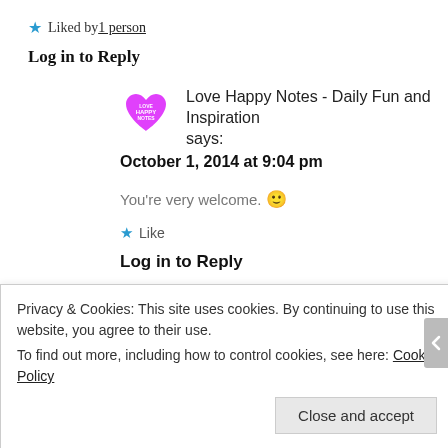★ Liked by 1 person
Log in to Reply
Love Happy Notes - Daily Fun and Inspiration says:
October 1, 2014 at 9:04 pm
You're very welcome. 🙂
★ Like
Log in to Reply
Privacy & Cookies: This site uses cookies. By continuing to use this website, you agree to their use.
To find out more, including how to control cookies, see here: Cookie Policy
Close and accept